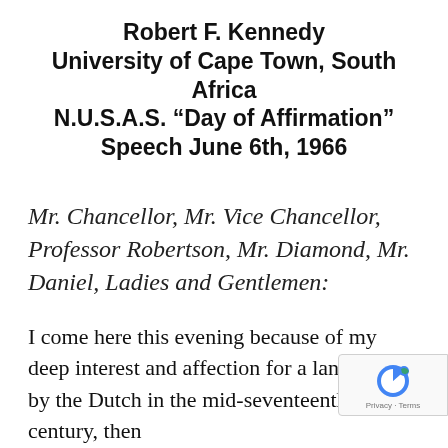Robert F. Kennedy University of Cape Town, South Africa N.U.S.A.S. "Day of Affirmation" Speech June 6th, 1966
Mr. Chancellor, Mr. Vice Chancellor, Professor Robertson, Mr. Diamond, Mr. Daniel, Ladies and Gentlemen:
I come here this evening because of my deep interest and affection for a land settled by the Dutch in the mid-seventeenth century, then